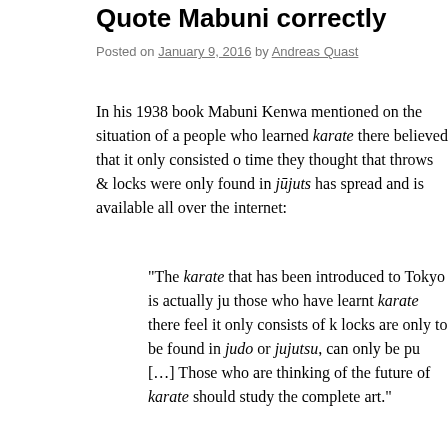Quote Mabuni correctly
Posted on January 9, 2016 by Andreas Quast
In his 1938 book Mabuni Kenwa mentioned on the situation of a people who learned karate there believed that it only consisted of time they thought that throws & locks were only found in jūjuts has spread and is available all over the internet:
“The karate that has been introduced to Tokyo is actually j those who have learnt karate there feel it only consists of k locks are only to be found in judo or jujutsu, can only be p [...] Those who are thinking of the future of karate should study the complete art.”
The above text is quoted on a variety of websites. It is either use embedded within articles to amplify the reasoning and conclusi
It is completely wrong, inadmissible, and a fallacy.
Here’s why...